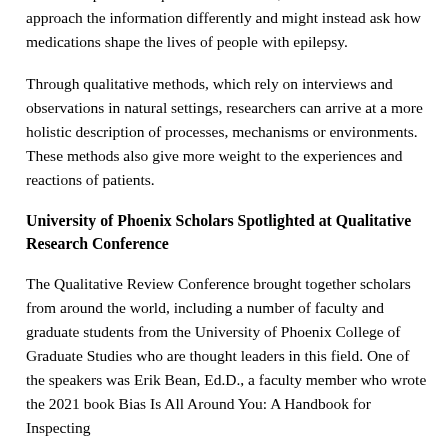six-month period. In qualitative research, the researcher would approach the information differently and might instead ask how medications shape the lives of people with epilepsy.
Through qualitative methods, which rely on interviews and observations in natural settings, researchers can arrive at a more holistic description of processes, mechanisms or environments. These methods also give more weight to the experiences and reactions of patients.
University of Phoenix Scholars Spotlighted at Qualitative Research Conference
The Qualitative Review Conference brought together scholars from around the world, including a number of faculty and graduate students from the University of Phoenix College of Graduate Studies who are thought leaders in this field. One of the speakers was Erik Bean, Ed.D., a faculty member who wrote the 2021 book Bias Is All Around You: A Handbook for Inspecting